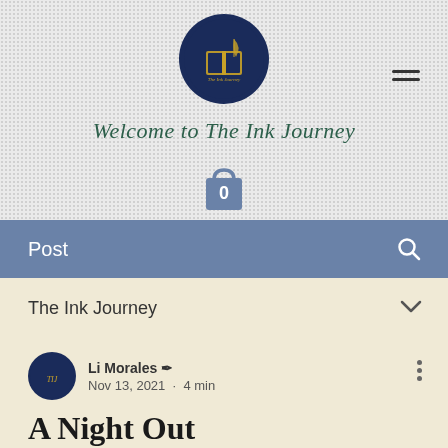[Figure (logo): The Ink Journey circular logo with dark navy background, gold book and feather emblem]
Welcome to The Ink Journey
[Figure (illustration): Shopping bag icon in slate blue with number 0 inside]
Post
The Ink Journey
Li Morales ✒ Nov 13, 2021 · 4 min
A Night Out